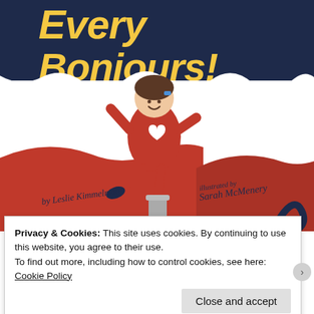[Figure (illustration): Book cover of a children's book showing partial title '...Every...Bonjours!' in yellow italic text on dark navy background, with an illustration of a girl in a red dress with a white heart, waving, balancing on one leg on what appears to be a milk can, with red hills and a dark cat tail visible at bottom right. Author: by Leslie Kimmelman, Illustrated by Sarah McMenemy.]
Privacy & Cookies: This site uses cookies. By continuing to use this website, you agree to their use.
To find out more, including how to control cookies, see here: Cookie Policy
Close and accept